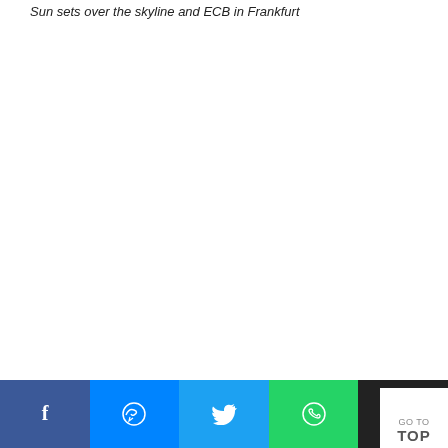Sun sets over the skyline and ECB in Frankfurt
[Figure (other): Share buttons bar at bottom: Facebook (blue), Messenger (blue), Twitter (light blue), WhatsApp (green), Email (black), with GO TO TOP button at bottom right]